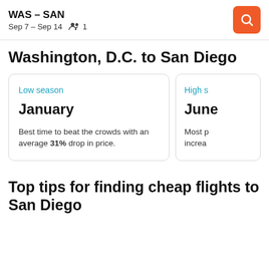WAS – SAN  Sep 7 – Sep 14  👥 1
Washington, D.C. to San Diego
Low season
January
Best time to beat the crowds with an average 31% drop in price.
High s
June
Most p increa
Top tips for finding cheap flights to San Diego